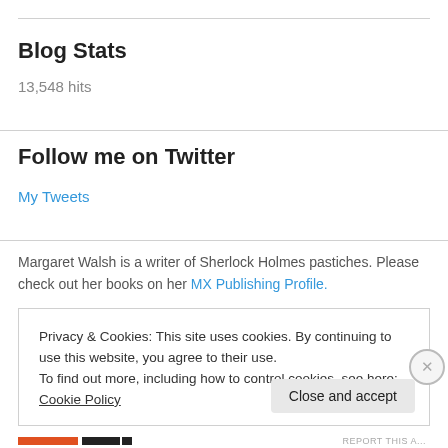Blog Stats
13,548 hits
Follow me on Twitter
My Tweets
Margaret Walsh is a writer of Sherlock Holmes pastiches. Please check out her books on her MX Publishing Profile.
Privacy & Cookies: This site uses cookies. By continuing to use this website, you agree to their use.
To find out more, including how to control cookies, see here: Cookie Policy
Close and accept